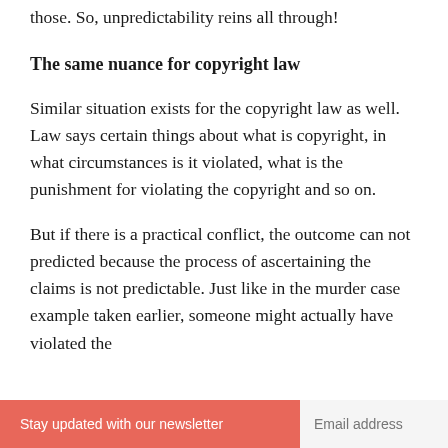those. So, unpredictability reins all through!
The same nuance for copyright law
Similar situation exists for the copyright law as well. Law says certain things about what is copyright, in what circumstances is it violated, what is the punishment for violating the copyright and so on.
But if there is a practical conflict, the outcome can not predicted because the process of ascertaining the claims is not predictable. Just like in the murder case example taken earlier, someone might actually have violated the
Stay updated with our newsletter